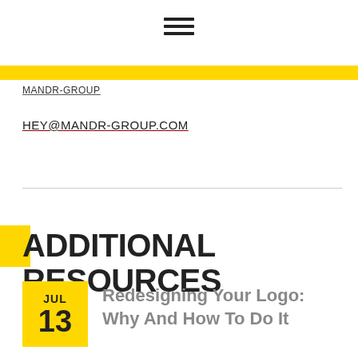[Figure (other): Hamburger menu icon — three horizontal black lines]
HEY@MANDR-GROUP.COM
ADDITIONAL RESOURCES
JUL 13 Redesigning Your Logo: Why And How To Do It